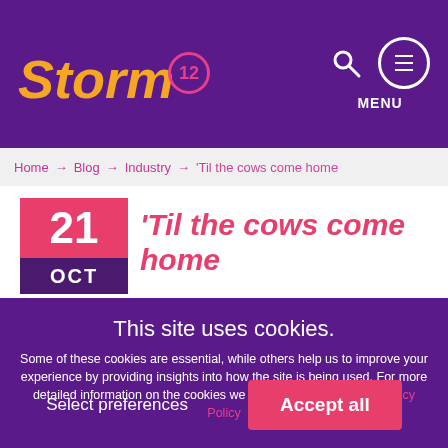Storm12 - MENU
Home → Blog → Industry → 'Til the cows come home
'Til the cows come home
21 OCT
This site uses cookies.
Some of these cookies are essential, while others help us to improve your experience by providing insights into how the site is being used. For more detailed information on the cookies we use, please check our Privacy Policy
Select preferences
Accept all